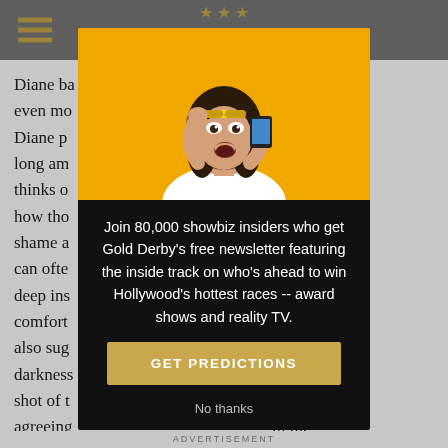Diane b... r is even mo... k. As Diane p... an undo long am... ne thinks o... ou see how tho... and shame a... eman" can ofte... ers such deep ins... oddly comfort... e show also sug... darkness... the final shot of t... ooftop agreeing... to the night sky...
[Figure (photo): Woman with dark hair in white top looking shocked at phone, orange/yellow background]
Join 80,000 showbiz insiders who get Gold Derby's free newsletter featuring the inside track on who's ahead to win Hollywood's hottest races -- award shows and reality TV.
GET PREDICTIONS
No thanks
ADVERTISEMENT